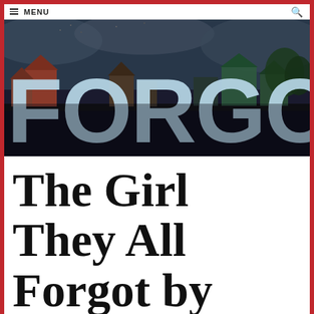MENU
[Figure (photo): Book cover image showing 'FORGOT' text over a dark cityscape/town scene with houses silhouetted against a stormy sky]
The Girl They All Forgot by